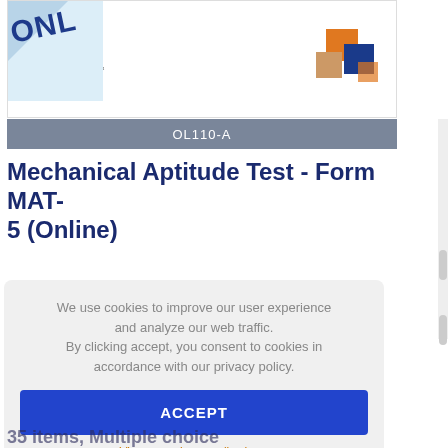[Figure (screenshot): Book cover image showing 'ONL' text on spine with publisher information (Hamner Corporation) and geometric logo squares (orange, blue, tan)]
OL110-A
Mechanical Aptitude Test - Form MAT-5 (Online)
We use cookies to improve our user experience and analyze our web traffic. By clicking accept, you consent to cookies in accordance with our privacy policy.
ACCEPT
View our privacy policy here
35 items, Multiple choice